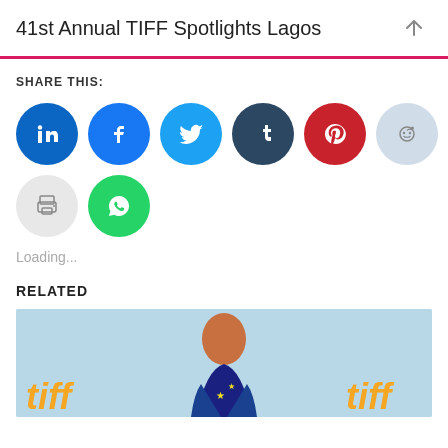41st Annual TIFF Spotlights Lagos
SHARE THIS:
[Figure (illustration): Row of social media share buttons: LinkedIn (blue), Facebook (blue), Twitter (cyan), Tumblr (dark navy), Pinterest (red), Reddit (light blue), Email (gray), then second row: Print (gray), WhatsApp (green)]
Loading...
RELATED
[Figure (photo): A person wearing a blue patterned dress at a TIFF (Toronto International Film Festival) event with Ontario branding visible. tiff logos visible in orange italic text lower left and right.]